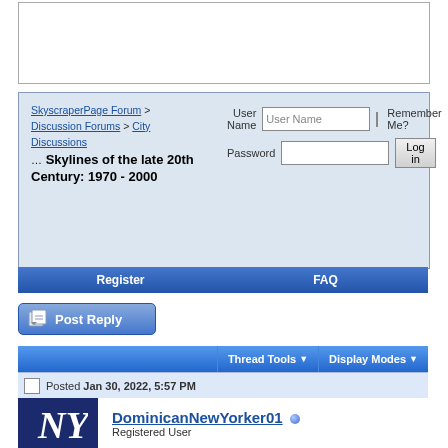[Figure (screenshot): White empty box at top]
SkyscraperPage Forum > Discussion Forums > City Discussions
Skylines of the late 20th Century: 1970 - 2000
User Name | Password | Remember Me? | Log in
Register   FAQ
[Figure (screenshot): Post Reply button]
Thread Tools ▼   Display Modes ▼
Posted Jan 30, 2022, 5:57 PM
[Figure (logo): New York Yankees NY logo in navy blue]
DominicanNewYorker01
Registered User